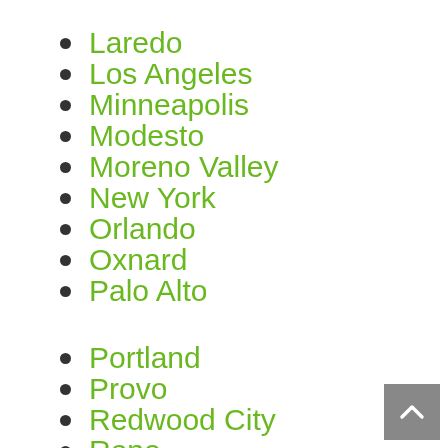Laredo
Los Angeles
Minneapolis
Modesto
Moreno Valley
New York
Orlando
Oxnard
Palo Alto
Portland
Provo
Redwood City
Reno
Round Rock
San Jose
Seattle
Stockton